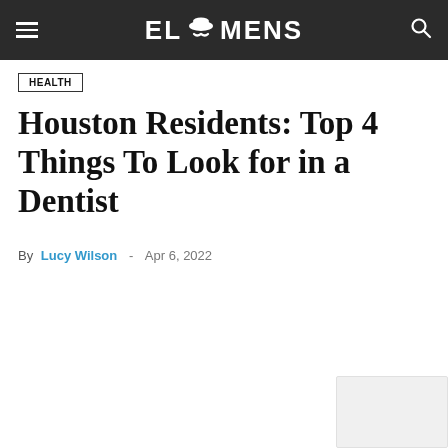ELOMENS
HEALTH
Houston Residents: Top 4 Things To Look for in a Dentist
By Lucy Wilson - Apr 6, 2022